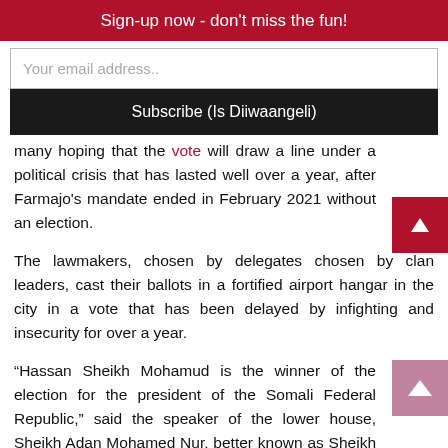Sign-up now - don't miss the fun!
Your email address..
Subscribe (Is Diiwaangeli)
many hoping that the vote will draw a line under a political crisis that has lasted well over a year, after Farmajo's mandate ended in February 2021 without an election.
The lawmakers, chosen by delegates chosen by clan leaders, cast their ballots in a fortified airport hangar in the city in a vote that has been delayed by infighting and insecurity for over a year.
“Hassan Sheikh Mohamud is the winner of the election for the president of the Somali Federal Republic,” said the speaker of the lower house, Sheikh Adan Mohamed Nur, better known as Sheikh Adan Madobe. He was previously president from 2012 to 2017.